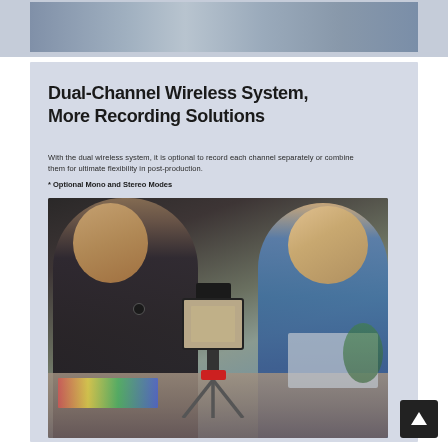[Figure (photo): Partial view of a photo strip at the top showing people in a light blue-gray toned image]
Dual-Channel Wireless System, More Recording Solutions
With the dual wireless system, it is optional to record each channel separately or combine them for ultimate flexibility in post-production.
* Optional Mono and Stereo Modes
[Figure (photo): Two people (a man in a vest with a lapel microphone and a woman in a blue top) sitting at a table facing each other, with a smartphone on a tripod with a camera attachment between them showing their recording setup. Colorful papers on the table. A laptop visible on the right side.]